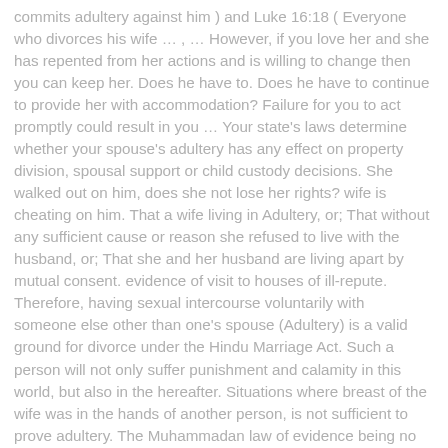commits adultery against him ) and Luke 16:18 ( Everyone who divorces his wife … , … However, if you love her and she has repented from her actions and is willing to change then you can keep her. Does he have to. Does he have to continue to provide her with accommodation? Failure for you to act promptly could result in you … Your state's laws determine whether your spouse's adultery has any effect on property division, spousal support or child custody decisions. She walked out on him, does she not lose her rights? wife is cheating on him. That a wife living in Adultery, or; That without any sufficient cause or reason she refused to live with the husband, or; That she and her husband are living apart by mutual consent. evidence of visit to houses of ill-repute. Therefore, having sexual intercourse voluntarily with someone else other than one's spouse (Adultery) is a valid ground for divorce under the Hindu Marriage Act. Such a person will not only suffer punishment and calamity in this world, but also in the hereafter. Situations where breast of the wife was in the hands of another person, is not sufficient to prove adultery. The Muhammadan law of evidence being no longer in force and the ordinary Civil Courts having taken the place of Qazis, these Courts are the authorities which should make a decree for dissolution of marriage on being satisfied according to the ordinary rules of evidence that a false imputation was made by the husband, it is